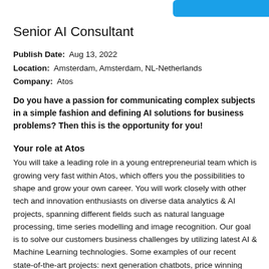Senior AI Consultant
Publish Date:  Aug 13, 2022
Location:  Amsterdam, Amsterdam, NL-Netherlands
Company:  Atos
Do you have a passion for communicating complex subjects in a simple fashion and defining AI solutions for business problems? Then this is the opportunity for you!
Your role at Atos
You will take a leading role in a young entrepreneurial team which is growing very fast within Atos, which offers you the possibilities to shape and grow your own career. You will work closely with other tech and innovation enthusiasts on diverse data analytics & AI projects, spanning different fields such as natural language processing, time series modelling and image recognition. Our goal is to solve our customers business challenges by utilizing latest AI & Machine Learning technologies. Some examples of our recent state-of-the-art projects: next generation chatbots, price winning intelligent automation